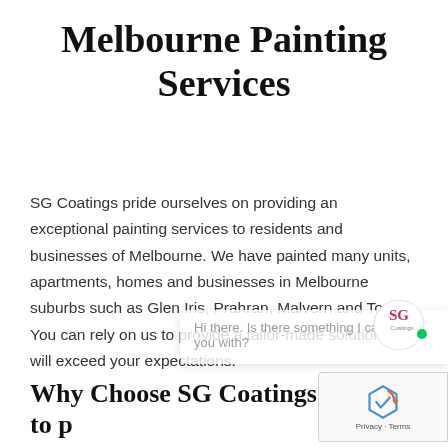Melbourne Painting Services
SG Coatings pride ourselves on providing an exceptional painting services to residents and businesses of Melbourne. We have painted many units, apartments, homes and businesses in Melbourne suburbs such as Glen Iris, Prahran, Malvern and Toorak. You can rely on us to provide a tailor-made solution that will exceed your expectations.
Why Choose SG Coatings to p…